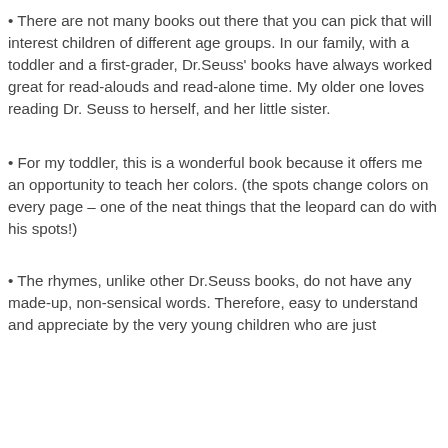• There are not many books out there that you can pick that will interest children of different age groups. In our family, with a toddler and a first-grader, Dr.Seuss' books have always worked great for read-alouds and read-alone time. My older one loves reading Dr. Seuss to herself, and her little sister.
• For my toddler, this is a wonderful book because it offers me an opportunity to teach her colors. (the spots change colors on every page – one of the neat things that the leopard can do with his spots!)
• The rhymes, unlike other Dr.Seuss books, do not have any made-up, non-sensical words. Therefore, easy to understand and appreciate by the very young children who are just